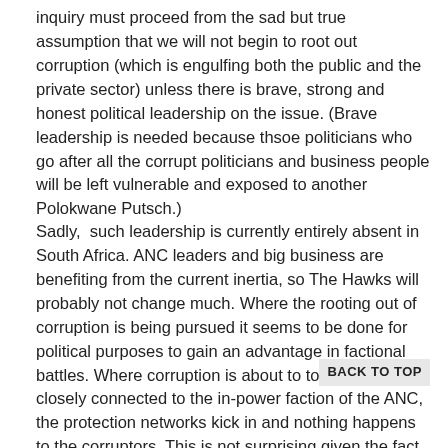inquiry must proceed from the sad but true assumption that we will not begin to root out corruption (which is engulfing both the public and the private sector) unless there is brave, strong and honest political leadership on the issue. (Brave leadership is needed because thsoe politicians who go after all the corrupt politicians and business people will be left vulnerable and exposed to another Polokwane Putsch.)
Sadly,  such leadership is currently entirely absent in South Africa. ANC leaders and big business are benefiting from the current inertia, so The Hawks will probably not change much. Where the rooting out of corruption is being pursued it seems to be done for political purposes to gain an advantage in factional battles. Where corruption is about to touch those too closely connected to the in-power faction of the ANC, the protection networks kick in and nothing happens to the corruptors. This is not surprising given the fact that our President's former financial advisor was convicted of soliciting a bribe on behalf of the President and of actually bribing the President and given the manner in which our President's family and associates have financially benefited since his tenure as President.